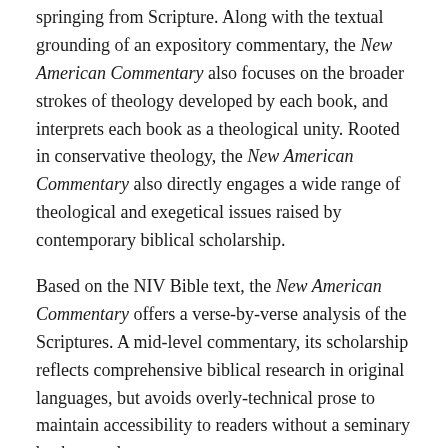springing from Scripture. Along with the textual grounding of an expository commentary, the New American Commentary also focuses on the broader strokes of theology developed by each book, and interprets each book as a theological unity. Rooted in conservative theology, the New American Commentary also directly engages a wide range of theological and exegetical issues raised by contemporary biblical scholarship.
Based on the NIV Bible text, the New American Commentary offers a verse-by-verse analysis of the Scriptures. A mid-level commentary, its scholarship reflects comprehensive biblical research in original languages, but avoids overly-technical prose to maintain accessibility to readers without a seminary background.
This volume is available for purchase individually, or as part of the following sets: